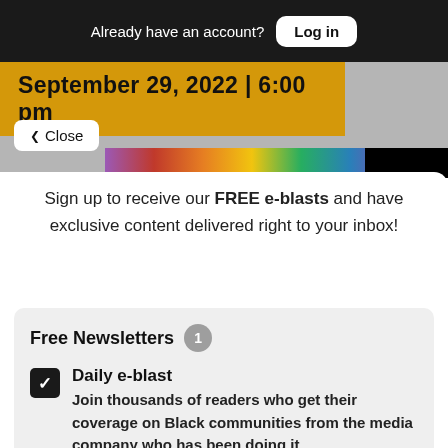Already have an account? Log in
September 29, 2022 | 6:00 pm
✓ Close
Sign up to receive our FREE e-blasts and have exclusive content delivered right to your inbox!
Free Newsletters 1
Daily e-blast — Join thousands of readers who get their coverage on Black communities from the media company who has been doing it